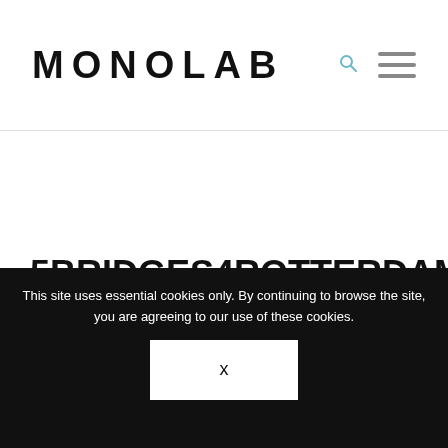MONOLAB
5BRIDGES4ROTTERDAM
…manifesto for a balanced city…
This site uses essential cookies only. By continuing to browse the site, you are agreeing to our use of these cookies.